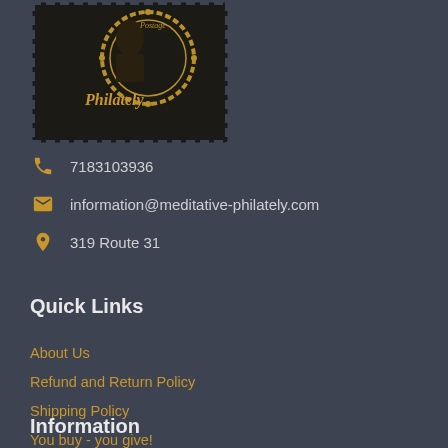[Figure (logo): Meditative Philately logo — decorative postage stamp design with dark background and gold ornamental text]
7183103936
information@meditative-philately.com
319 Route 31
Quick Links
About Us
Refund and Return Policy
Shipping Policy
You buy - you give!
Information